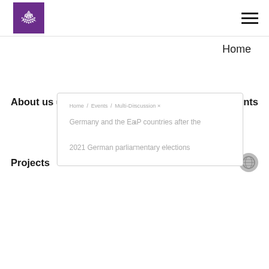[Figure (logo): GIP organization logo - purple square with globe/fan graphic and GIP text]
[Figure (other): Hamburger menu icon (three horizontal lines)]
Home
About us   Publications   News   Events
Home / Events / Multi-Discussion ×
Germany and the EaP countries after the 2021 German parliamentary elections
Projects   GEODEM   Media ∨